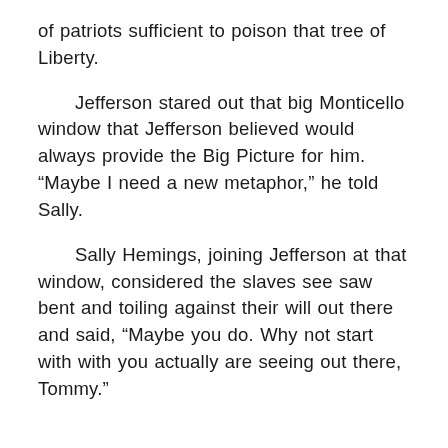of patriots sufficient to poison that tree of Liberty.
Jefferson stared out that big Monticello window that Jefferson believed would always provide the Big Picture for him. “Maybe I need a new metaphor,” he told Sally.
Sally Hemings, joining Jefferson at that window, considered the slaves see saw bent and toiling against their will out there and said, “Maybe you do. Why not start with with you actually are seeing out there, Tommy.”